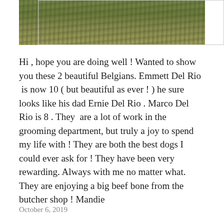[Figure (photo): Partial photo of grass/ground area, visible at top of page]
Hi , hope you are doing well ! Wanted to show you these 2 beautiful Belgians. Emmett Del Rio  is now 10 ( but beautiful as ever ! ) he sure looks like his dad Ernie Del Rio . Marco Del Rio is 8 . They  are a lot of work in the grooming department, but truly a joy to spend my life with ! They are both the best dogs I could ever ask for ! They have been very rewarding. Always with me no matter what. They are enjoying a big beef bone from the butcher shop ! Mandie
October 6, 2019